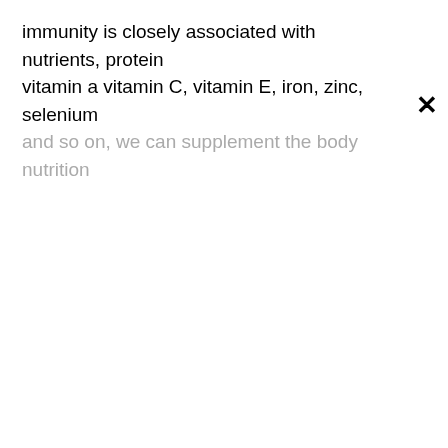immunity is closely associated with nutrients, protein vitamin a vitamin C, vitamin E, iron, zinc, selenium and so on, we can supplement the body nutrition